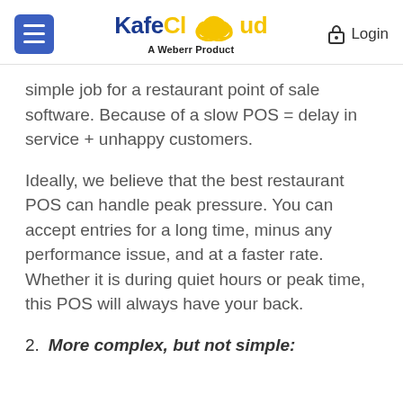KafeCloud – A Weberr Product | Login
simple job for a restaurant point of sale software. Because of a slow POS = delay in service + unhappy customers.
Ideally, we believe that the best restaurant POS can handle peak pressure. You can accept entries for a long time, minus any performance issue, and at a faster rate. Whether it is during quiet hours or peak time, this POS will always have your back.
2. More complex, but not simple: